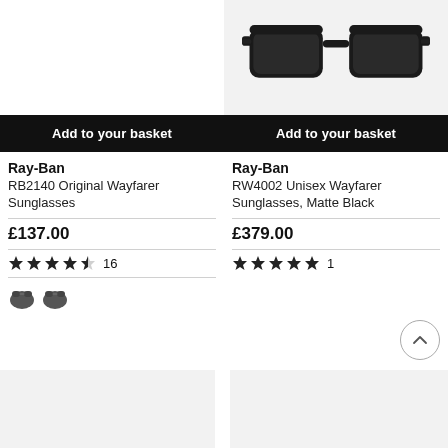[Figure (photo): Left product: Ray-Ban RB2140 Original Wayfarer Sunglasses product image area (blank/white)]
[Figure (photo): Right product: Ray-Ban RW4002 Unisex Wayfarer Sunglasses, Matte Black — black wayfarer-style smart glasses on light grey background]
Add to your basket
Add to your basket
Ray-Ban
RB2140 Original Wayfarer Sunglasses
£137.00
★★★★★ 16
[Figure (illustration): Two small dark sunglass lens colour swatches]
Ray-Ban
RW4002 Unisex Wayfarer Sunglasses, Matte Black
£379.00
★★★★★ 1
[Figure (photo): Bottom left product image placeholder (grey background)]
[Figure (photo): Bottom right product image placeholder (grey background)]
[Figure (illustration): Scroll to top circular arrow button]